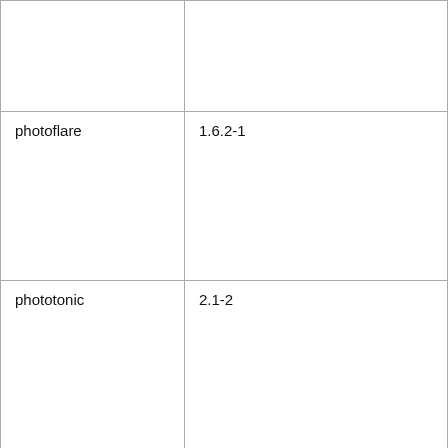|  |  |
| photoflare | 1.6.2-1 |
| phototonic | 2.1-2 |
| pinentry-x2go | 0.7.5.10-1 |